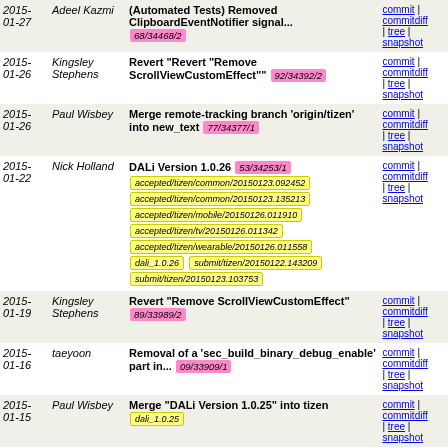| Date | Author | Commit | Links |
| --- | --- | --- | --- |
| 2015-01-27 | Adeel Kazmi | (Automated Tests) Removed ClipboardEventNotifier signal... [68/34468/2] | commit | commitdiff | tree | snapshot |
| 2015-01-26 | Kingsley Stephens | Revert "Revert "Remove ScrollViewCustomEffect"" [92/34392/2] | commit | commitdiff | tree | snapshot |
| 2015-01-26 | Paul Wisbey | Merge remote-tracking branch 'origin/tizen' into new_text [77/34377/1] | commit | commitdiff | tree | snapshot |
| 2015-01-22 | Nick Holland | DALi Version 1.0.26 [53/34253/1] accepted/tizen/common/20150123.092452 accepted/tizen/common/20150123.135213 accepted/tizen/mobile/20150126.011910 accepted/tizen/tv/20150126.011342 accepted/tizen/wearable/20150126.011558 dali_1.0.26 submit/tizen/20150122.143209 submit/tizen/20150123.103753 | commit | commitdiff | tree | snapshot |
| 2015-01-19 | Kingsley Stephens | Revert "Remove ScrollViewCustomEffect" [89/33989/2] | commit | commitdiff | tree | snapshot |
| 2015-01-16 | taeyoon | Removal of a 'sec_build_binary_debug_enable' part in... [09/33909/1] | commit | commitdiff | tree | snapshot |
| 2015-01-15 | Paul Wisbey | Merge "DALi Version 1.0.25" into tizen [dali_1.0.25] | commit | commitdiff | tree | snapshot |
| 2015-01-15 | Xiangyin Ma | DALi Version 1.0.25 [42/33842/1] | commit | commitdiff | tree | snapshot |